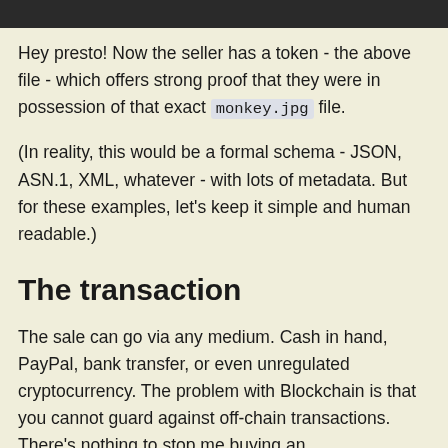Hey presto! Now the seller has a token - the above file - which offers strong proof that they were in possession of that exact monkey.jpg file.
(In reality, this would be a formal schema - JSON, ASN.1, XML, whatever - with lots of metadata. But for these examples, let's keep it simple and human readable.)
The transaction
The sale can go via any medium. Cash in hand, PayPal, bank transfer, or even unregulated cryptocurrency. The problem with Blockchain is that you cannot guard against off-chain transactions. There's nothing to stop me buying an